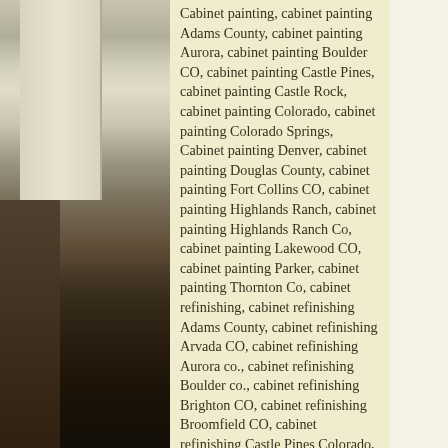[Figure (photo): Interior room photo showing white painted cabinets/built-ins on the left side, a doorway with a floral curtain or item hanging, and dark hardwood floors. The image is partially visible on the left portion of the page.]
Cabinet painting, cabinet painting Adams County, cabinet painting Aurora, cabinet painting Boulder CO, cabinet painting Castle Pines, cabinet painting Castle Rock, cabinet painting Colorado, cabinet painting Colorado Springs, Cabinet painting Denver, cabinet painting Douglas County, cabinet painting Fort Collins CO, cabinet painting Highlands Ranch, cabinet painting Highlands Ranch Co, cabinet painting Lakewood CO, cabinet painting Parker, cabinet painting Thornton Co, cabinet refinishing, cabinet refinishing Adams County, cabinet refinishing Arvada CO, cabinet refinishing Aurora co., cabinet refinishing Boulder co., cabinet refinishing Brighton CO, cabinet refinishing Broomfield CO, cabinet refinishing Castle Pines Colorado, cabinet refinishing Castle Rock, cabinet refinishing centennial co., cabinet refinishing Denver, cabinet refinishing Douglas County, cabinet refinishing Highlands Ranch, cabinet refinishing Jefferson County, cabinet refinishing Lakewood co., cabinet refinishing Larkspur, cabinet refinishing Littleton co., cabinet refinishing Northglenn Co, cabinet refinishing Parker, cabinet refinishing Thornton CO, cabinet refinishing Westminister Co, cabinet refinishing Westminster CO, cabinet